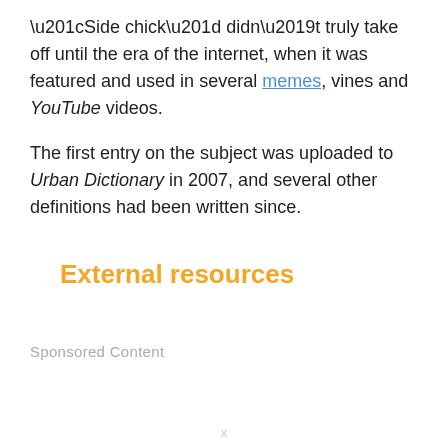“Side chick” didn’t truly take off until the era of the internet, when it was featured and used in several memes, vines and YouTube videos.
The first entry on the subject was uploaded to Urban Dictionary in 2007, and several other definitions had been written since.
External resources
Sponsored Content